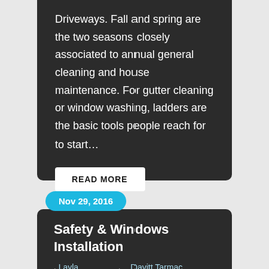Driveways. Fall and spring are the two seasons closely associated to annual general cleaning and house maintenance. For gutter cleaning or window washing, ladders are the basic tools people reach for to start…
READ MORE
Nov 29, 2016
Safety & Windows Installation
| Layla Campbell | ≡ Davitt Tarmac Wicklow
Word Count: 665 Click here to find Davitt Driveways map listing for Tarmac Wicklow. For